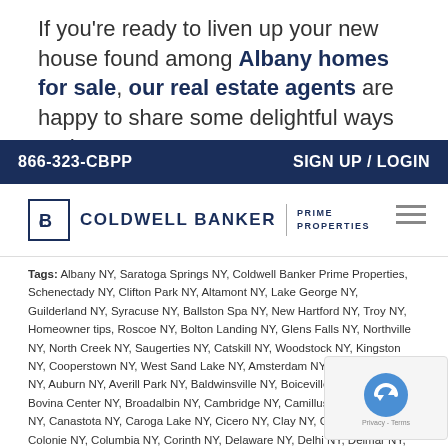If you're ready to liven up your new house found among Albany homes for sale, our real estate agents are happy to share some delightful ways to do
866-323-CBPP   SIGN UP / LOGIN
[Figure (logo): Coldwell Banker Prime Properties logo with CB icon]
Tags: Albany NY, Saratoga Springs NY, Coldwell Banker Prime Properties, Schenectady NY, Clifton Park NY, Altamont NY, Lake George NY, Guilderland NY, Syracuse NY, Ballston Spa NY, New Hartford NY, Troy NY, Homeowner tips, Roscoe NY, Bolton Landing NY, Glens Falls NY, Northville NY, North Creek NY, Saugerties NY, Catskill NY, Woodstock NY, Kingston NY, Cooperstown NY, West Sand Lake NY, Amsterdam NY, Andes NY, Argyle NY, Auburn NY, Averill Park NY, Baldwinsville NY, Boiceville NY, Bovina NY, Bovina Center NY, Broadalbin NY, Cambridge NY, Camillus NY, Canajoharie NY, Canastota NY, Caroga Lake NY, Cicero NY, Clay NY, Cohoes NY, Colonie NY, Columbia NY, Corinth NY, Delaware NY, Delhi NY, Delmar NY, Denver NY, East Greenbush NY, Edinburg NY, Elbridge NY, Ephratah NY, Fayetteville NY, Fleischmanns NY, Fonda NY, Fort Johnson NY, Fort Plain NY, Fulton NY, Fultonville NY, Galway NY, Geddes NY, Glenville NY, Gloversville NY, Granville NY, Green Island NY, Greene NY, Greenfield NY, Greenwich NY, Hagaman NY, Halfmoon NY, Hamilton NY, Herkimer NY, Hillsdale NY, Johnstown NY, Latham NY, Liverpool NY, Livingston Manor NY, Loudonville NY, Lysander NY, Madison NY, Malta NY, Manlius NY, Marcellus NY, Margaretville NY, Mayfield NY, Mechanicville NY, Menands NY,